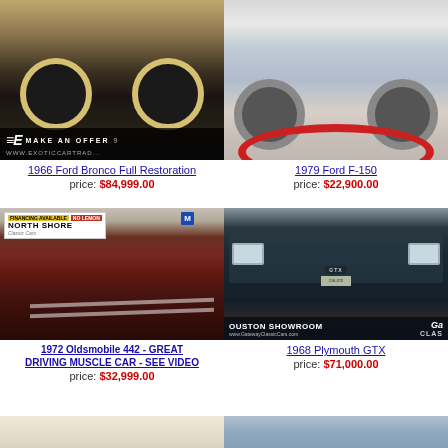[Figure (photo): 1966 Ford Bronco Full Restoration - undercarriage and wheels visible with Exotic Car Trader watermark overlay showing MAKE AN OFFER and www.exoticcartrad...]
1966 Ford Bronco Full Restoration
price: $84,999.00
[Figure (photo): 1979 Ford F-150 - classic pickup truck on display platform]
1979 Ford F-150
price: $22,900.00
[Figure (photo): 1972 Oldsmobile 442 - dark red muscle car in North Shore Classic Cars showroom]
1972 Oldsmobile 442 - GREAT DRIVING MUSCLE CAR - SEE VIDEO
price: $32,999.00
[Figure (photo): 1968 Plymouth GTX - dark teal classic car in Gateway Classic Cars Houston Showroom]
1968 Plymouth GTX
price: $71,000.00
[Figure (photo): Partial view of another classic car - bottom left]
[Figure (photo): Partial view of another classic car - bottom right, light blue]